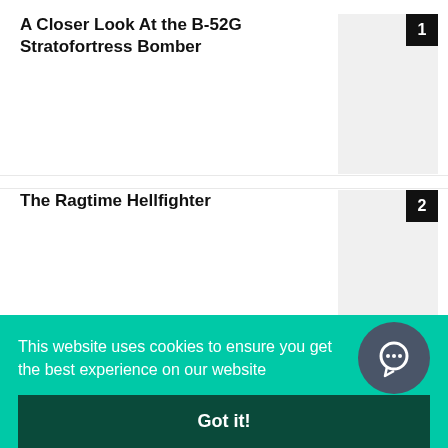A Closer Look At the B-52G Stratofortress Bomber
The Ragtime Hellfighter
Aretha Franklin Queen Of Soul who sang Respect
Three Ballerists Three Continuous the...
This website uses cookies to ensure you get the best experience on our website
Got it!